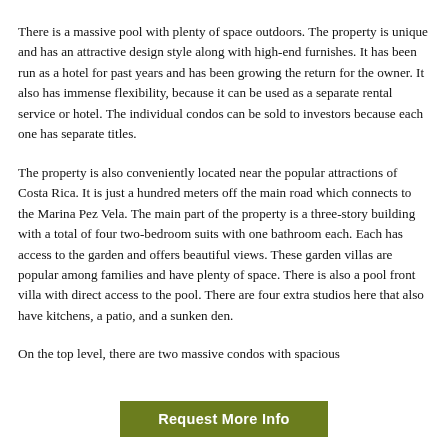There is a massive pool with plenty of space outdoors. The property is unique and has an attractive design style along with high-end furnishes. It has been run as a hotel for past years and has been growing the return for the owner. It also has immense flexibility, because it can be used as a separate rental service or hotel. The individual condos can be sold to investors because each one has separate titles.
The property is also conveniently located near the popular attractions of Costa Rica. It is just a hundred meters off the main road which connects to the Marina Pez Vela. The main part of the property is a three-story building with a total of four two-bedroom suits with one bathroom each. Each has access to the garden and offers beautiful views. These garden villas are popular among families and have plenty of space. There is also a pool front villa with direct access to the pool. There are four extra studios here that also have kitchens, a patio, and a sunken den.
On the top level, there are two massive condos with spacious